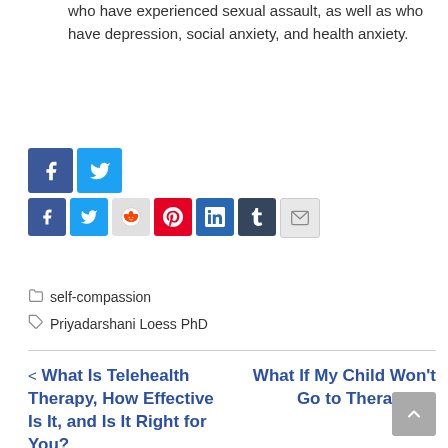who have experienced sexual assault, as well as who have depression, social anxiety, and health anxiety.
[Figure (other): Social media share buttons row 1: Facebook and Twitter (larger icons)]
[Figure (other): Social media share buttons row 2: Facebook, Twitter, Reddit, Pinterest, LinkedIn, Tumblr, Email]
self-compassion
Priyadarshani Loess PhD
< What Is Telehealth Therapy, How Effective Is It, and Is It Right for You?
What If My Child Won't Go to Therapy? >